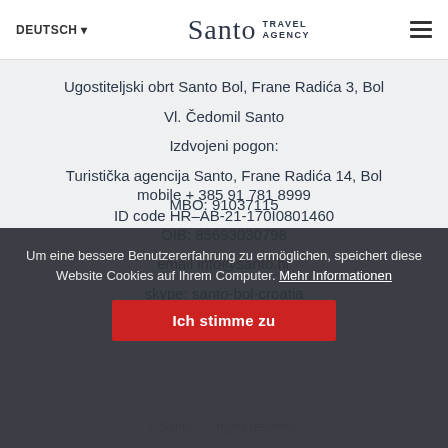DEUTSCH ▾  Santo Travel Agency  ≡
Ugostiteljski obrt Santo Bol, Frane Radića 3, Bol
Vl. Čedomil Santo
Izdvojeni pogon:
Turistička agencija Santo, Frane Radića 14, Bol
MBO: 91037115
OIB: 85693030798
email info@santo.hr
skype: santo-bol-croatia
fax +385 21 717 195
mobile + 385 91 781 8999
ID code HR-AB-21-170I0801460
Um eine bessere Benutzererfahrung zu ermöglichen, speichert diese Website Cookies auf Ihrem Computer. Mehr Informationen
Ich stimme zu
© Santo … rights reserved.